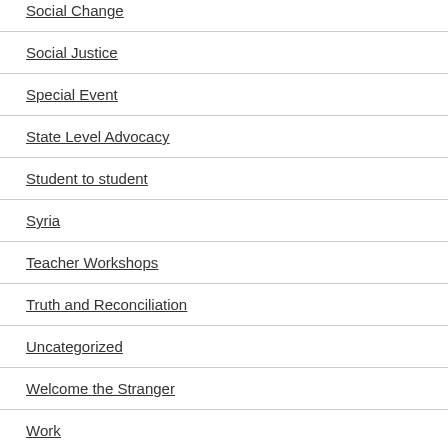Social Change
Social Justice
Special Event
State Level Advocacy
Student to student
Syria
Teacher Workshops
Truth and Reconciliation
Uncategorized
Welcome the Stranger
Work